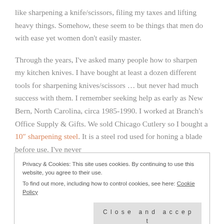like sharpening a knife/scissors, filing my taxes and lifting heavy things.  Somehow, these seem to be things that men do with ease yet women don't easily master.
Through the years, I've asked many people how to sharpen my kitchen knives. I have bought at least a dozen different tools for sharpening knives/scissors … but never had much success with them. I remember seeking help as early as New Bern, North Carolina, circa 1985-1990. I worked at Branch's Office Supply & Gifts. We sold Chicago Cutlery so I bought a 10″ sharpening steel. It is a steel rod used for honing a blade before use. I've never
Privacy & Cookies: This site uses cookies. By continuing to use this website, you agree to their use.
To find out more, including how to control cookies, see here: Cookie Policy
Close and accept
all-trades introduced me to the many uses of steel files. I